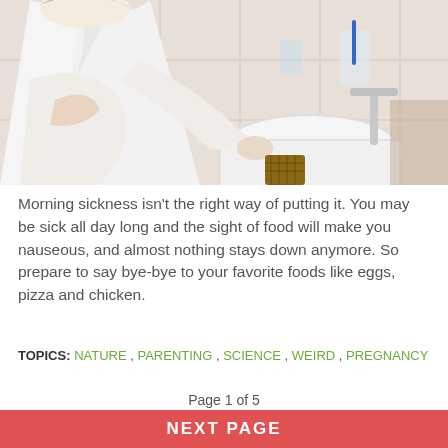[Figure (photo): A person in a white bathrobe leaning over a bathroom sink, suggesting morning sickness during pregnancy. Bathroom setting with faucet, toothbrush holder, and glass visible in the background.]
Morning sickness isn't the right way of putting it. You may be sick all day long and the sight of food will make you nauseous, and almost nothing stays down anymore. So prepare to say bye-bye to your favorite foods like eggs, pizza and chicken.
TOPICS: NATURE , PARENTING , SCIENCE , WEIRD , PREGNANCY
Page 1 of 5
NEXT PAGE